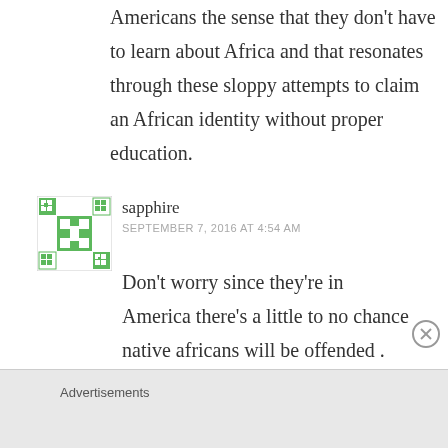Americans the sense that they don't have to learn about Africa and that resonates through these sloppy attempts to claim an African identity without proper education.
[Figure (illustration): Green and white geometric avatar icon for user 'sapphire']
sapphire
SEPTEMBER 7, 2016 AT 4:54 AM
Don't worry since they're in America there's a little to no chance native africans will be offended . Do the the
Advertisements